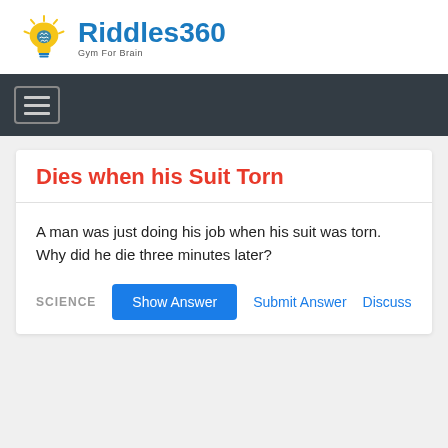[Figure (logo): Riddles360 logo with lightbulb icon and tagline 'Gym For Brain']
Dies when his Suit Torn
A man was just doing his job when his suit was torn. Why did he die three minutes later?
SCIENCE  Show Answer  Submit Answer  Discuss